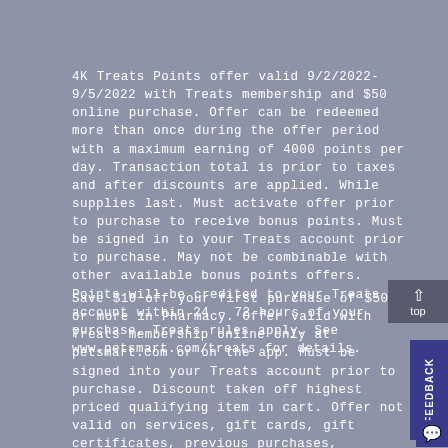4K Treats Points offer valid 9/2/2022-9/5/2022 with Treats membership and $50 online purchase. Offer can be redeemed more than once during the offer period with a maximum earning of 4000 points per day. Transaction total is prior to taxes and after discounts are applied. While supplies last. Must activate offer prior to purchase to receive bonus points. Must be signed in to your Treats account prior to purchase. May not be combinable with other available bonus points offers. Points will be credited to your Treats account within 24 – 72 hours of your purchase. Treats rules apply. See www.petsmart.com/treats for details.
Save $10 off your first purchase of $50 or more in Pharmacy. Offer valid with Treats membership online only at petsmart.com or on the app. Must be signed into your Treats account prior to purchase. Discount taken off highest priced qualifying item in cart. Offer not valid on services, gift cards, gift certificates, previous purchases, charitable donations, and may exclude all or select items from various brands. Offer may not be combined with other promotional offers or discounts and specifically excludes any available Autoship offers. Limited to one time per customer during the offer period. Transaction total is prior to taxes & after discounts are applied. Terms and conditions of this offer are subject to change at the sole...